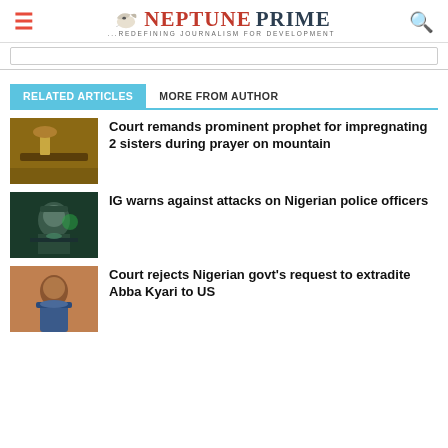Neptune Prime — Redefining Journalism for Development
RELATED ARTICLES | MORE FROM AUTHOR
[Figure (photo): Gavel on wooden surface - court/legal image]
Court remands prominent prophet for impregnating 2 sisters during prayer on mountain
[Figure (photo): Nigerian police officer in uniform at podium with green lighting]
IG warns against attacks on Nigerian police officers
[Figure (photo): Portrait of Abba Kyari in police uniform]
Court rejects Nigerian govt's request to extradite Abba Kyari to US